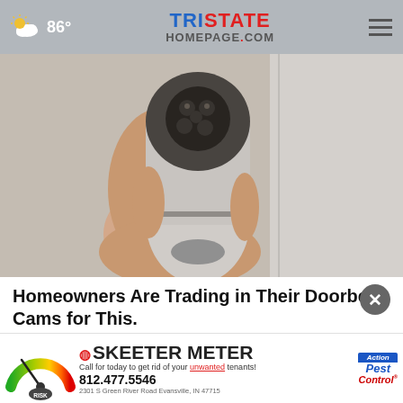86° | TRISTATE HOMEPAGE.com
[Figure (photo): A hand holding a small white bullet-shaped security camera with multiple IR LEDs on the front, photographed against a light background.]
Homeowners Are Trading in Their Doorbell Cams for This.
Kellin
[Figure (infographic): Skeeter Meter advertisement showing a gauge/meter with green-yellow-red gradient, a mosquito icon, the text 'SKEETER METER', 'Call for today to get rid of your unwanted tenants!', '812.477.5546', '2301 S Green River Road Evansville, IN 47715', and the Action Pest Control logo.]